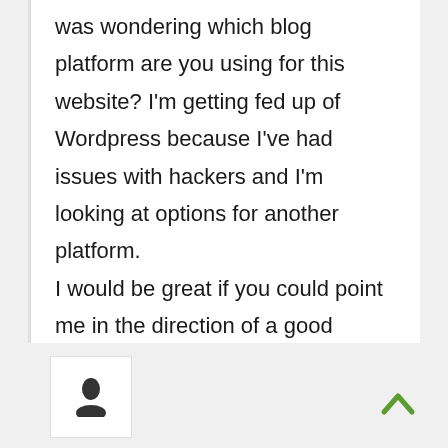was wondering which blog platform are you using for this website? I'm getting fed up of Wordpress because I've had issues with hackers and I'm looking at options for another platform. I would be great if you could point me in the direction of a good platform.
posted by   socket organizer
Viernes, 26 Agosto 2022 04:11
Comment Link